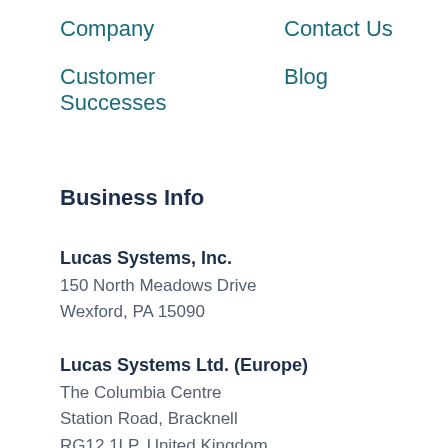Company
Contact Us
Customer Successes
Blog
Business Info
Lucas Systems, Inc.
150 North Meadows Drive
Wexford, PA 15090
Lucas Systems Ltd. (Europe)
The Columbia Centre
Station Road, Bracknell
RG12 1LP, United Kingdom